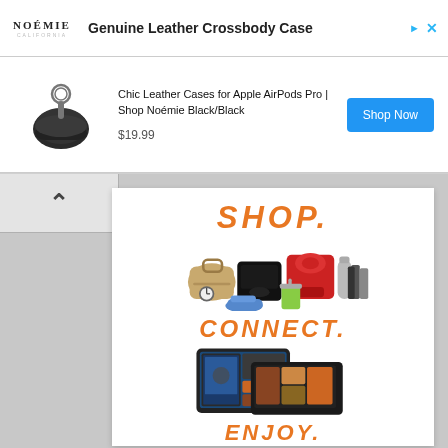[Figure (screenshot): Ad banner with Noémie logo and 'Genuine Leather Crossbody Case' title]
Chic Leather Cases for Apple AirPods Pro | Shop Noémie Black/Black
$19.99
Shop Now
[Figure (screenshot): SHOP. heading with product collage including gaming console, mixer, handbag, shoes, books, water bottle]
SHOP.
CONNECT.
ENJOY.